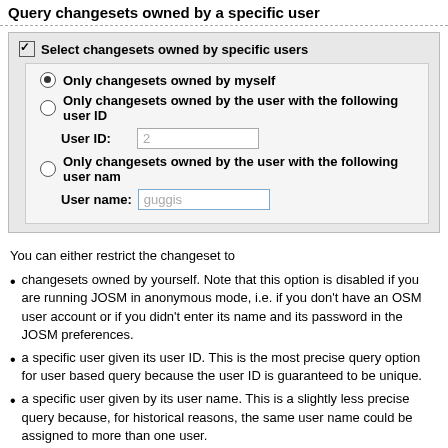Query changesets owned by a specific user
[Figure (screenshot): UI panel with checkbox 'Select changesets owned by specific users', containing radio buttons: 'Only changesets owned by myself' (selected), 'Only changesets owned by the user with the following user ID' with User ID field (placeholder: 2), 'Only changesets owned by the user with the following user name' with User name field (placeholder: guggis)]
You can either restrict the changeset to
changesets owned by yourself. Note that this option is disabled if you are running JOSM in anonymous mode, i.e. if you don't have an OSM user account or if you didn't enter its name and its password in the JOSM preferences.
a specific user given its user ID. This is the most precise query option for user based query because the user ID is guaranteed to be unique.
a specific user given by its user name. This is a slightly less precise query because, for historical reasons, the same user name could be assigned to more than one user.
Query changesets depending on whether they are open or closed
[Figure (screenshot): UI panel with checkbox 'Select changesets depending on whether they are open or closed']